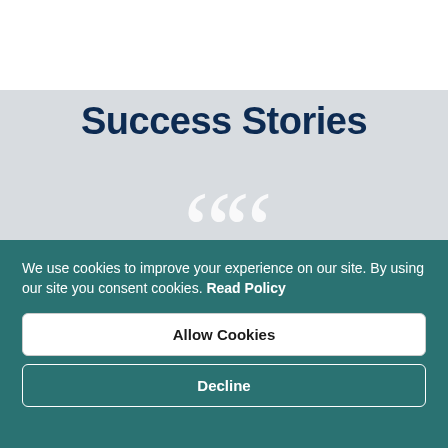Success Stories
"I thought I knew how to connect with patients, but
We use cookies to improve your experience on our site. By using our site you consent cookies. Read Policy
Allow Cookies
Decline